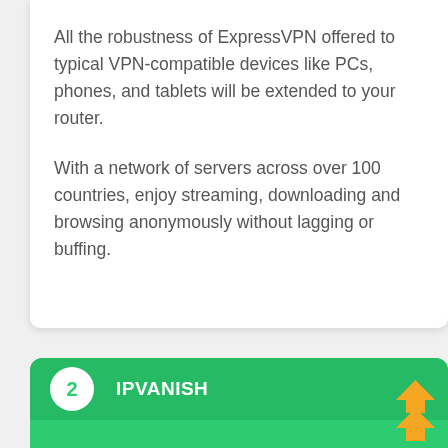All the robustness of ExpressVPN offered to typical VPN-compatible devices like PCs, phones, and tablets will be extended to your router.
With a network of servers across over 100 countries, enjoy streaming, downloading and browsing anonymously without lagging or buffing.
2 IPVANISH